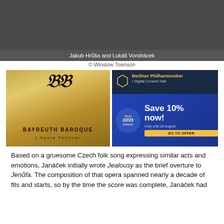[Figure (photo): Photo of Jakub Hrůša and Lukáš Vondrácek, dark grey banner background]
Jakub Hrůša and Lukáš Vondrácek
© Winslow Townson
[Figure (illustration): Bayreuth Baroque Opera Festival advertisement with golden background and ornate monogram]
[Figure (illustration): Berliner Philharmoniker Digital Concert Hall advertisement: Save 10% now! New 22/23 season. Only until 26 August. GO TO OFFER]
Based on a gruesome Czech folk song expressing similar acts and emotions, Janáček initially wrote Jealousy as the brief overture to Jenůfa. The composition of that opera spanned nearly a decade of fits and starts, so by the time the score was complete, Janáček had